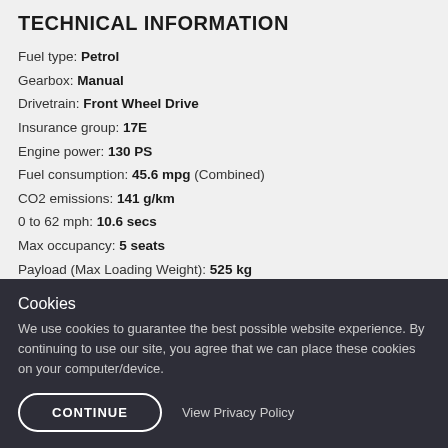TECHNICAL INFORMATION
Fuel type: Petrol
Gearbox: Manual
Drivetrain: Front Wheel Drive
Insurance group: 17E
Engine power: 130 PS
Fuel consumption: 45.6 mpg (Combined)
CO2 emissions: 141 g/km
0 to 62 mph: 10.6 secs
Max occupancy: 5 seats
Payload (Max Loading Weight): 525 kg
More Information
Cookies
We use cookies to guarantee the best possible website experience. By continuing to use our site, you agree that we can place these cookies on your computer/device.
CONTINUE  View Privacy Policy